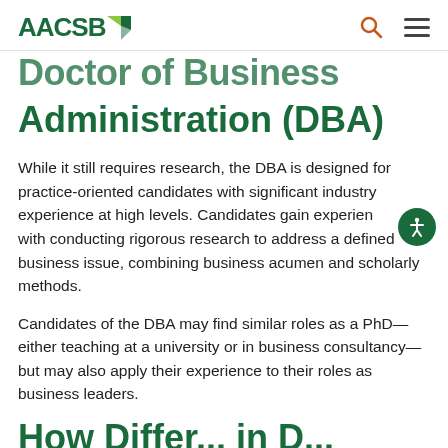AACSB
Doctor of Business Administration (DBA)
While it still requires research, the DBA is designed for practice-oriented candidates with significant industry experience at high levels. Candidates gain experience with conducting rigorous research to address a defined business issue, combining business acumen and scholarly methods.
Candidates of the DBA may find similar roles as a PhD—either teaching at a university or in business consultancy—but may also apply their experience to their roles as business leaders.
How Differ... in D...